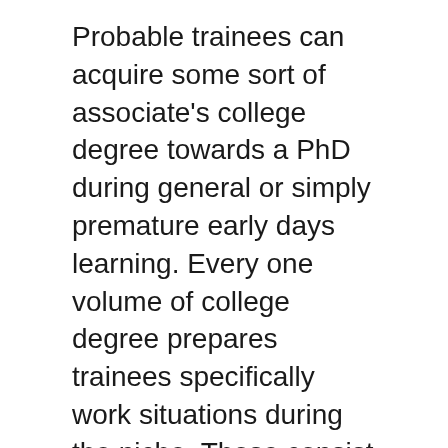Probable trainees can acquire some sort of associate's college degree towards a PhD during general or simply premature early days learning. Every one volume of college degree prepares trainees specifically work situations during the niche. Those consist of working in a good daycare or simply being a professor or simply some sort of administrator.
Let me consider special training systems in an effort to increase the best idea what precisely it may be for example to become a college within a general learning college degree process. Training systems comprise several ideas for example assisting tactics, literacy, early days enhancement, even more. Countless faculties gift overall learning